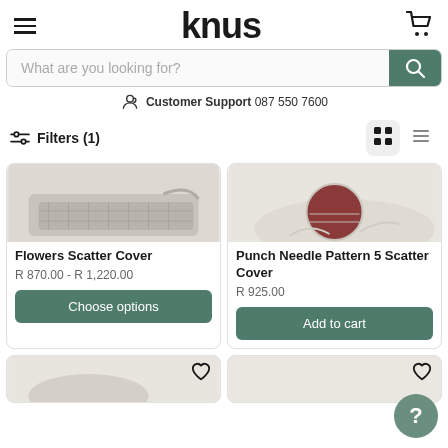knus
What are you looking for?
Customer Support 087 550 7600
Filters (1)
[Figure (photo): Partial view of a Flowers Scatter Cover product, showing a textured woven cushion cover.]
Flowers Scatter Cover
R 870.00 - R 1,220.00
Choose options
[Figure (photo): Partial view of a Punch Needle Pattern 5 Scatter Cover, showing a cream cushion cover with a rust-red circular pattern.]
Punch Needle Pattern 5 Scatter Cover
R 925.00
Add to cart
[Figure (photo): Partially visible product card at bottom left, showing a textured scatter cover.]
[Figure (photo): Partially visible product card at bottom right.]